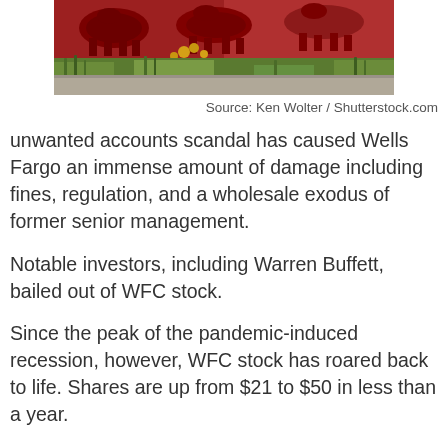[Figure (photo): Partial view of a red decorative sign or artwork with silhouetted horses, surrounded by green plants and yellow flowers outdoors.]
Source: Ken Wolter / Shutterstock.com
unwanted accounts scandal has caused Wells Fargo an immense amount of damage including fines, regulation, and a wholesale exodus of former senior management.
Notable investors, including Warren Buffett, bailed out of WFC stock.
Since the peak of the pandemic-induced recession, however, WFC stock has roared back to life. Shares are up from $21 to $50 in less than a year.
The positive trend is continuing. Wells Fargo stock raced higher last week and hit new 52-week highs on Friday.